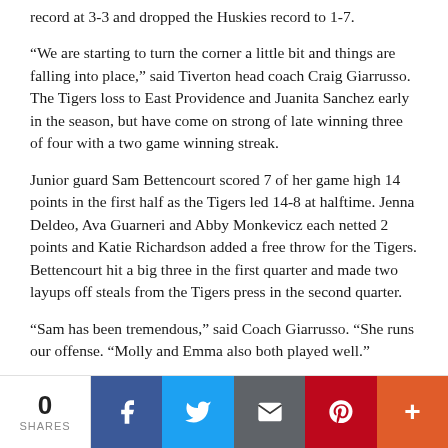record at 3-3 and dropped the Huskies record to 1-7.
“We are starting to turn the corner a little bit and things are falling into place,” said Tiverton head coach Craig Giarrusso. The Tigers loss to East Providence and Juanita Sanchez early in the season, but have come on strong of late winning three of four with a two game winning streak.
Junior guard Sam Bettencourt scored 7 of her game high 14 points in the first half as the Tigers led 14-8 at halftime. Jenna Deldeo, Ava Guarneri and Abby Monkevicz each netted 2 points and Katie Richardson added a free throw for the Tigers. Bettencourt hit a big three in the first quarter and made two layups off steals from the Tigers press in the second quarter.
“Sam has been tremendous,” said Coach Giarrusso. “She runs our offense. “Molly and Emma also both played well.”
Junior forward Reyn Ferris, Shivani Mehta, Mia Padula and Lauren Clarke-Pais each scored a basket as Mt. Hope kept the score close in the first half. The Huskies played well
0 SHARES | social share buttons: Facebook, Twitter, Email, Pinterest, More